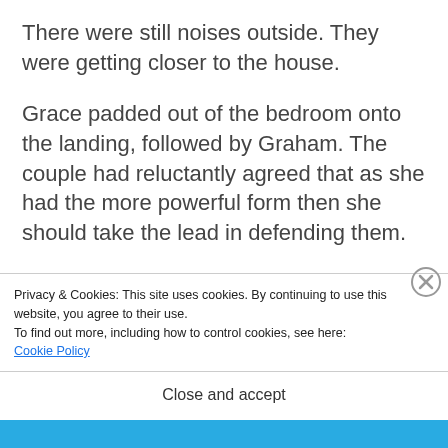There were still noises outside. They were getting closer to the house.
Grace padded out of the bedroom onto the landing, followed by Graham. The couple had reluctantly agreed that as she had the more powerful form then she should take the lead in defending them.
Privacy & Cookies: This site uses cookies. By continuing to use this website, you agree to their use.
To find out more, including how to control cookies, see here:
Cookie Policy
Close and accept